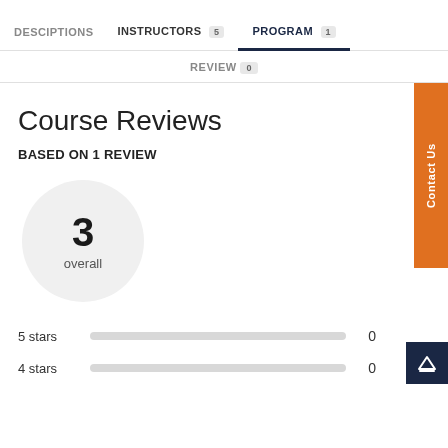DESCIPTIONS | INSTRUCTORS 5 | PROGRAM 1
REVIEW 0
Course Reviews
BASED ON 1 REVIEW
[Figure (infographic): Circle showing overall rating of 3 with label 'overall']
5 stars  0
4 stars  0